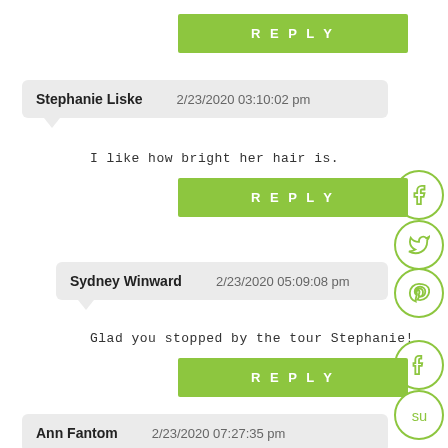REPLY
Stephanie Liske   2/23/2020 03:10:02 pm
I like how bright her hair is.
REPLY
Sydney Winward   2/23/2020 05:09:08 pm
Glad you stopped by the tour Stephanie!
REPLY
Ann Fantom   2/23/2020 07:27:35 pm